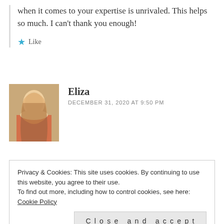when it comes to your expertise is unrivaled. This helps so much. I can't thank you enough!
★ Like
Eliza
DECEMBER 31, 2020 AT 9:50 PM
[Figure (photo): Profile photo of Eliza, a young woman with long hair near a harp]
Hi Brandon, wow that post left me speechless and almost teary! Lovely to make your acquaintance. Like
Privacy & Cookies: This site uses cookies. By continuing to use this website, you agree to their use.
To find out more, including how to control cookies, see here: Cookie Policy
Close and accept
★ Liked by 1 person